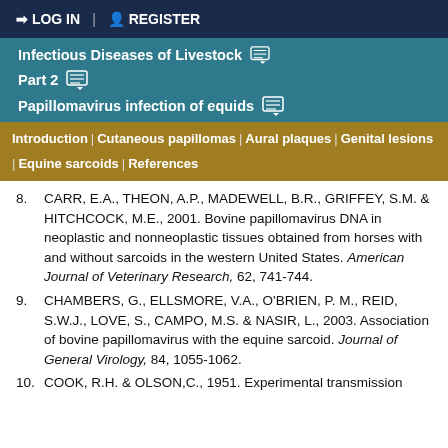LOG IN | REGISTER
Infectious Diseases of Livestock
Part 2
Papillomavirus infection of equids
Introduction | Cutaneous papillomas | Aural plaques | Genital lesions | Equine sarcoids | References
8. CARR, E.A., THEON, A.P., MADEWELL, B.R., GRIFFEY, S.M. & HITCHCOCK, M.E., 2001. Bovine papillomavirus DNA in neoplastic and nonneoplastic tissues obtained from horses with and without sarcoids in the western United States. American Journal of Veterinary Research, 62, 741-744.
9. CHAMBERS, G., ELLSMORE, V.A., O'BRIEN, P. M., REID, S.W.J., LOVE, S., CAMPO, M.S. & NASIR, L., 2003. Association of bovine papillomavirus with the equine sarcoid. Journal of General Virology, 84, 1055-1062.
10. COOK, R.H. & OLSON,C., 1951. Experimental transmission